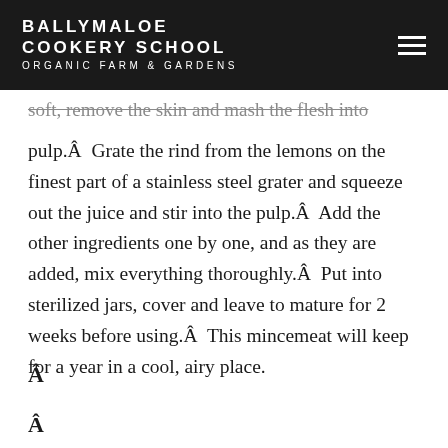BALLYMALOE COOKERY SCHOOL ORGANIC FARM & GARDENS
soft, remove the skin and mash the flesh into pulp.Â  Grate the rind from the lemons on the finest part of a stainless steel grater and squeeze out the juice and stir into the pulp.Â  Add the other ingredients one by one, and as they are added, mix everything thoroughly.Â  Put into sterilized jars, cover and leave to mature for 2 weeks before using.Â  This mincemeat will keep for a year in a cool, airy place.
Â
Â